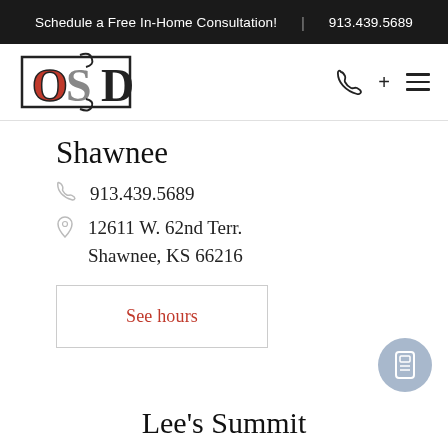Schedule a Free In-Home Consultation!  |  913.439.5689
[Figure (logo): OSD logo with stylized letters O, S, D in black with red fill on O]
Shawnee
913.439.5689
12611 W. 62nd Terr.
Shawnee, KS 66216
See hours
Lee's Summit